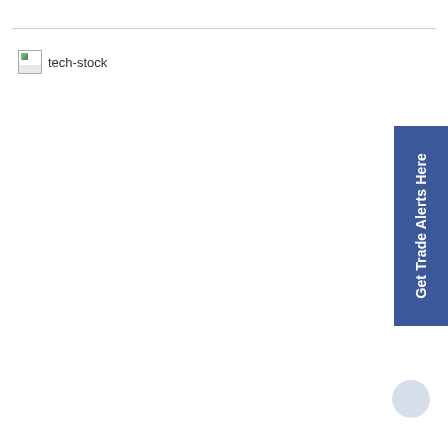[Figure (other): Broken image placeholder labeled 'tech-stock']
[Figure (other): Blue sidebar button with rotated text 'Get Trade Alerts Here']
[Figure (other): Small circular light blue button in bottom right corner]